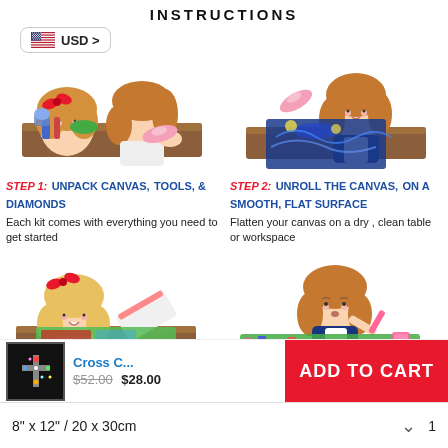INSTRUCTIONS
[Figure (illustration): USD currency selector button with US flag]
[Figure (illustration): Cartoon girl unpacking a diamond painting kit from a rolled canvas with supplies on table]
STEP 1: UNPACK CANVAS, TOOLS, & DIAMONDS - Each kit comes with everything you need to get started
[Figure (illustration): Cartoon girl unrolling a canvas with starry night painting on a flat table surface]
STEP 2: UNROLL THE CANVAS, ON A SMOOTH, FLAT SURFACE - Flatten your canvas on a dry, clean table or workspace
[Figure (illustration): Cartoon girl watching a hand peel back protective film from diamond painting canvas]
[Figure (illustration): Cartoon girl placing diamonds on canvas with a pen tool]
Cross C... $52.00 $28.00
ADD TO CART
8" x 12" / 20 x 30cm
1